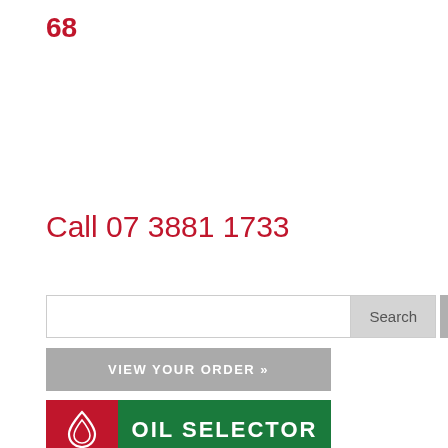68
Call 07 3881 1733
[Figure (screenshot): Search input field with Search button]
[Figure (screenshot): VIEW YOUR ORDER » grey button]
[Figure (logo): OIL SELECTOR button with red section containing oil drop icon and green section with text OIL SELECTOR]